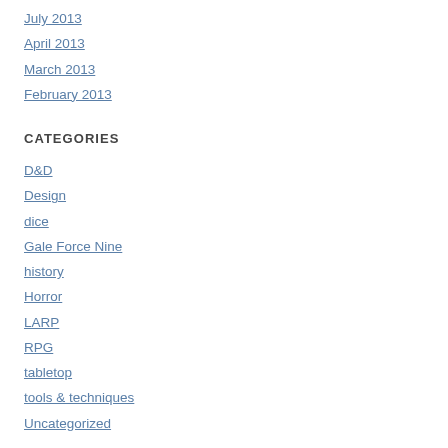July 2013
April 2013
March 2013
February 2013
CATEGORIES
D&D
Design
dice
Gale Force Nine
history
Horror
LARP
RPG
tabletop
tools & techniques
Uncategorized